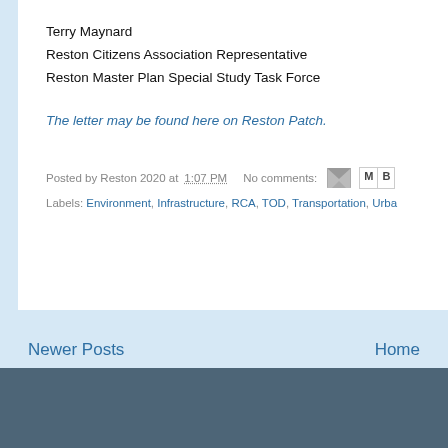Terry Maynard
Reston Citizens Association Representative
Reston Master Plan Special Study Task Force
The letter may be found here on Reston Patch.
Posted by Reston 2020 at 1:07 PM   No comments:
Labels: Environment, Infrastructure, RCA, TOD, Transportation, Urba...
Newer Posts
Home
Subscribe to: Posts (Atom)